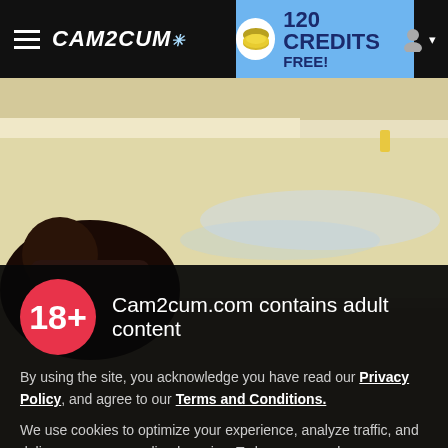CAM2CUM — 120 CREDITS FREE!
[Figure (photo): Person in a bathtub with tattoos, bathtub scene with warm lighting]
Cam2cum.com contains adult content
By using the site, you acknowledge you have read our Privacy Policy, and agree to our Terms and Conditions.
We use cookies to optimize your experience, analyze traffic, and deliver more personalized service. To learn more, please see our Privacy Policy.
I AGREE